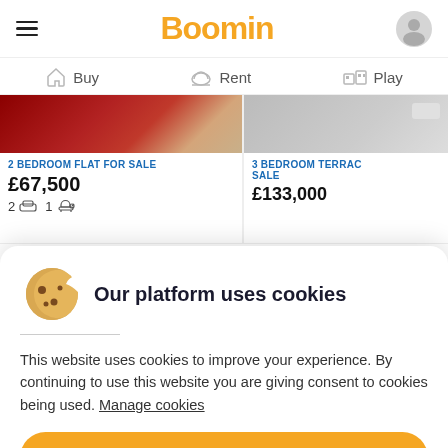Boomin
Buy | Rent | Play
[Figure (screenshot): Two property listing cards: '2 BEDROOM FLAT FOR SALE £67,500 2 bed 1 bath' and '3 BEDROOM TERRACE SALE £133,000']
Our platform uses cookies
This website uses cookies to improve your experience. By continuing to use this website you are giving consent to cookies being used. Manage cookies
OK